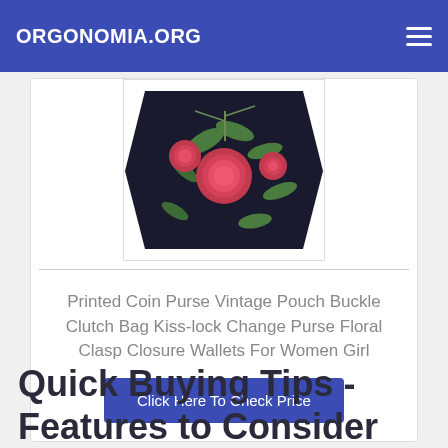ORGONOMIA.ORG
[Figure (photo): A floral printed coin purse on black background with pink roses and green leaves, shown on white background with drop shadow border.]
Printed Coin Purse Vintage Pouch Buckle Clutch Bag Kiss-lock Change Purse Floral Clasp Closure Wallets For Women Girl
Click Here To Check Price
Quick Buying Tips - Features to Consider